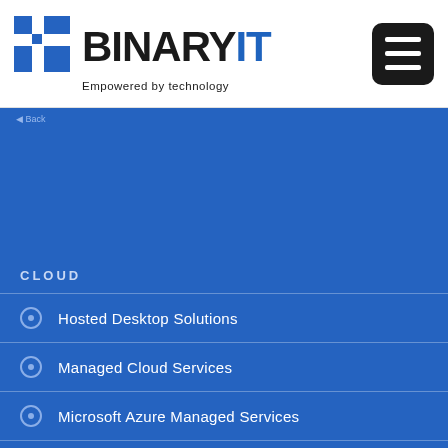[Figure (logo): Binary IT logo with blue grid icon and text 'BINARYIT - Empowered by technology']
CLOUD
Hosted Desktop Solutions
Managed Cloud Services
Microsoft Azure Managed Services
Microsoft Office 365
WEB
Web Development